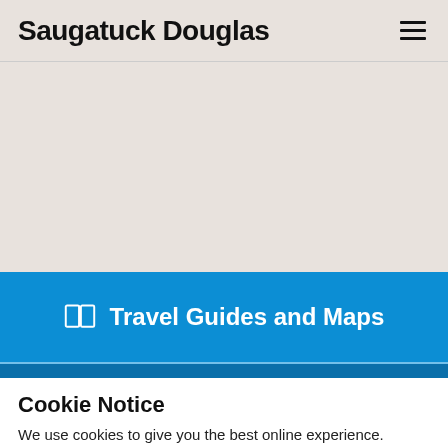Saugatuck Douglas
[Figure (illustration): Large beige/taupe empty hero area below the site header]
Travel Guides and Maps
Cookie Notice
We use cookies to give you the best online experience.